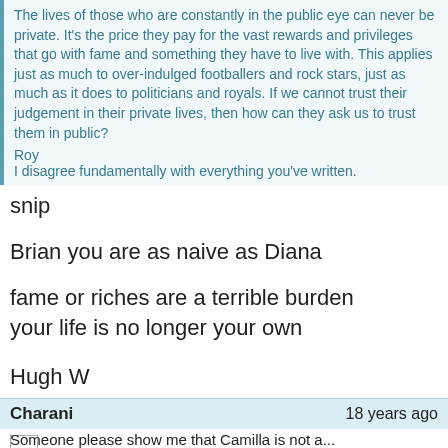The lives of those who are constantly in the public eye can never be private. It's the price they pay for the vast rewards and privileges that go with fame and something they have to live with. This applies just as much to over-indulged footballers and rock stars, just as much as it does to politicians and royals. If we cannot trust their judgement in their private lives, then how can they ask us to trust them in public?
Roy
I disagree fundamentally with everything you've written.
snip
Brian you are as naive as Diana
fame or riches are a terrible burden
your life is no longer your own
Hugh W
Charani   18 years ago
...
What on earth are you blithering on about??????
Someone please show me that Camilla is not a...